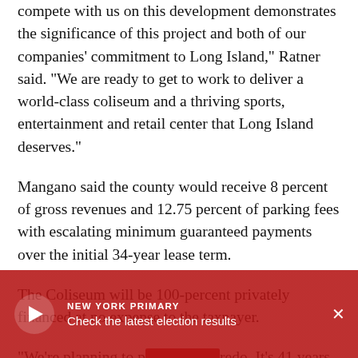compete with us on this development demonstrates the significance of this project and both of our companies' commitment to Long Island," Ratner said. "We are ready to get to work to deliver a world-class coliseum and a thriving sports, entertainment and retail center that Long Island deserves."
Mangano said the county would receive 8 percent of gross revenues and 12.75 percent of parking fees with escalating minimum guaranteed payments over the initial 34-year lease term.
The Coliseum will be 100-percent privately financed at no expense to the taxpayer.
"We're planning to [do a complete] redo. It's 41 years o[ld and you feel it] when you're in it. Y[...]
[Figure (other): Video overlay banner with red background, play button icon, 'NEW YORK PRIMARY' label, and 'Check the latest election results' text, with an X close button.]